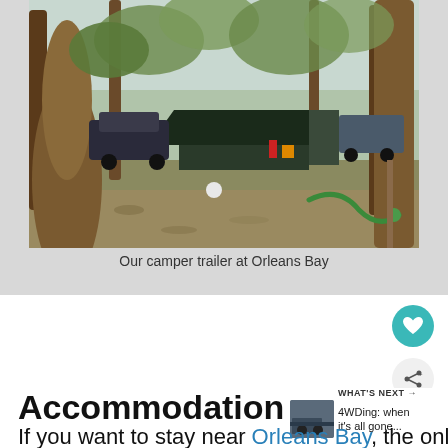[Figure (photo): Photograph of a camper trailer set up among eucalyptus trees at Orleans Bay campsite, with a dark green tent/awning, a car parked nearby, and a garden hose on the ground.]
Our camper trailer at Orleans Bay
Accommodation options
WHAT'S NEXT → 4WDing: when it's all gone...
If you want to stay near Orleans Bay, the only